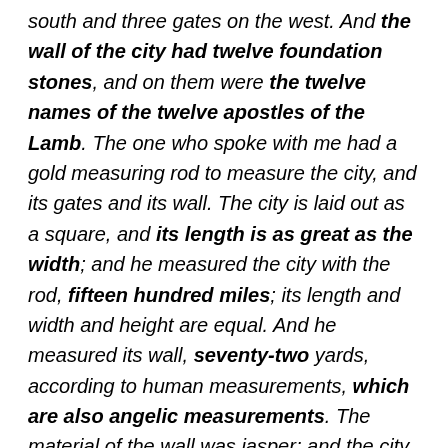south and three gates on the west. And the wall of the city had twelve foundation stones, and on them were the twelve names of the twelve apostles of the Lamb. The one who spoke with me had a gold measuring rod to measure the city, and its gates and its wall. The city is laid out as a square, and its length is as great as the width; and he measured the city with the rod, fifteen hundred miles; its length and width and height are equal. And he measured its wall, seventy-two yards, according to human measurements, which are also angelic measurements. The material of the wall was jasper; and the city was pure gold, like clear glass. The foundation stones of the city wall were adorned with every kind of precious stone. The first foundation stone was